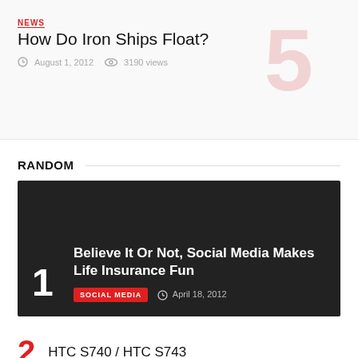NEWS
How Do Iron Ships Float?
August 1, 2012  3190 views
[Figure (other): Large decorative number 5 in light pink/salmon color]
RANDOM
[Figure (other): Dark featured article card with rank number 1]
Believe It Or Not, Social Media Makes Life Insurance Fun
SOCIAL MEDIA   April 18, 2012
HTC S740 / HTC S743